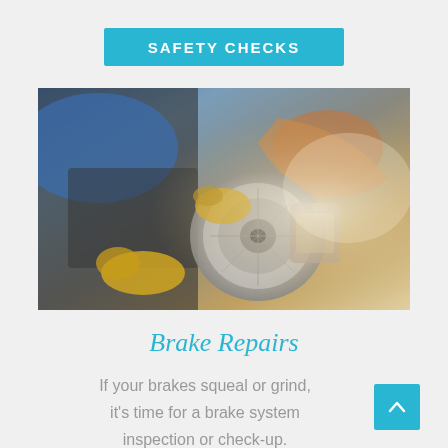SAFETY CHECKS
[Figure (photo): A mechanic wearing yellow gloves inspecting or repairing a brake disc/rotor on a vehicle]
Brake Repairs
If your brakes squeal or grind, it's time for a brake system inspection or check-up.